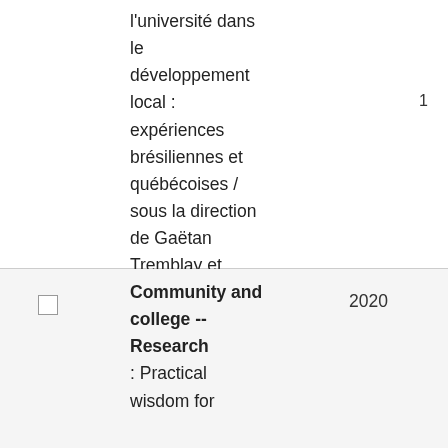l'université dans le développement local : expériences brésiliennes et québécoises / sous la direction de Gaëtan Tremblay et Paulo Freire Vieira
1
Community and college -- Research : Practical wisdom for
2020